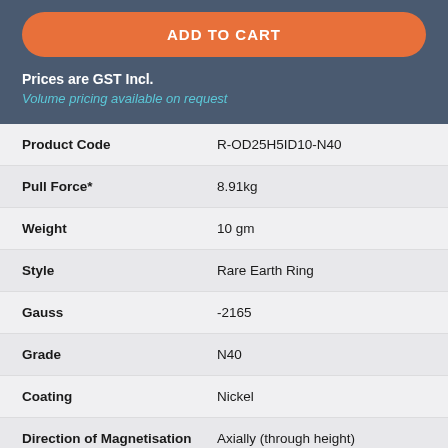ADD TO CART
Prices are GST Incl.
Volume pricing available on request
| Property | Value |
| --- | --- |
| Product Code | R-OD25H5ID10-N40 |
| Pull Force* | 8.91kg |
| Weight | 10 gm |
| Style | Rare Earth Ring |
| Gauss | -2165 |
| Grade | N40 |
| Coating | Nickel |
| Direction of Magnetisation | Axially (through height) |
| Dimensions | Outside Diameter:25mm, Inside |